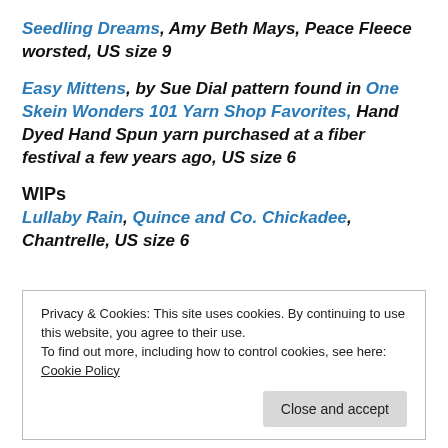Seedling Dreams, Amy Beth Mays, Peace Fleece worsted, US size 9
Easy Mittens, by Sue Dial pattern found in One Skein Wonders 101 Yarn Shop Favorites, Hand Dyed Hand Spun yarn purchased at a fiber festival a few years ago, US size 6
WIPs
Lullaby Rain, Quince and Co. Chickadee, Chantrelle, US size 6
Privacy & Cookies: This site uses cookies. By continuing to use this website, you agree to their use.
To find out more, including how to control cookies, see here: Cookie Policy
Close and accept